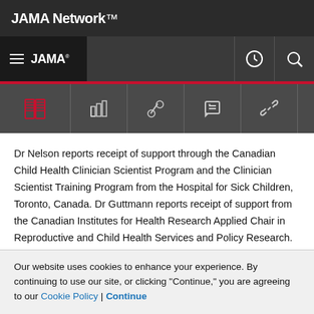JAMA Network
JAMA
Dr Nelson reports receipt of support through the Canadian Child Health Clinician Scientist Program and the Clinician Scientist Training Program from the Hospital for Sick Children, Toronto, Canada. Dr Guttmann reports receipt of support from the Canadian Institutes for Health Research Applied Chair in Reproductive and Child Health Services and Policy Research.
Role of the Funder/Sponsor: The funders were…
Our website uses cookies to enhance your experience. By continuing to use our site, or clicking "Continue," you are agreeing to our Cookie Policy | Continue